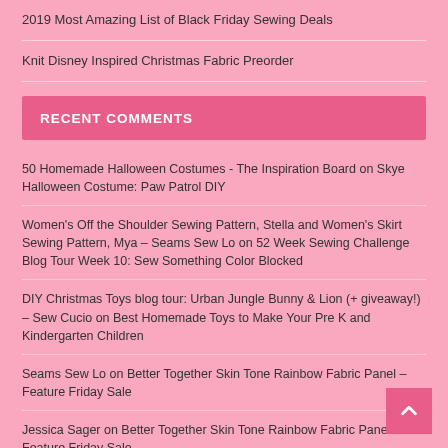2019 Most Amazing List of Black Friday Sewing Deals
Knit Disney Inspired Christmas Fabric Preorder
RECENT COMMENTS
50 Homemade Halloween Costumes - The Inspiration Board on Skye Halloween Costume: Paw Patrol DIY
Women's Off the Shoulder Sewing Pattern, Stella and Women's Skirt Sewing Pattern, Mya – Seams Sew Lo on 52 Week Sewing Challenge Blog Tour Week 10: Sew Something Color Blocked
DIY Christmas Toys blog tour: Urban Jungle Bunny & Lion (+ giveaway!) – Sew Cucio on Best Homemade Toys to Make Your Pre K and Kindergarten Children
Seams Sew Lo on Better Together Skin Tone Rainbow Fabric Panel – Feature Friday Sale
Jessica Sager on Better Together Skin Tone Rainbow Fabric Panel – Feature Friday Sale